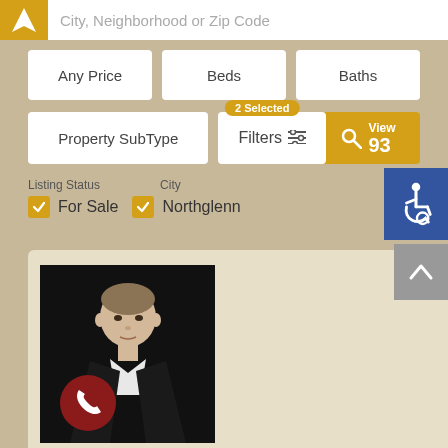[Figure (screenshot): Real estate search interface screenshot showing search bar with 'City, Neighborhood or Zip Code' placeholder, filter buttons for Any Price, Beds, Baths, Property SubType, Filters (2 Selected), and View 93 button, active filters showing For Sale and Northglenn, accessibility icon, agent card with photo and phone button, and scroll-up button.]